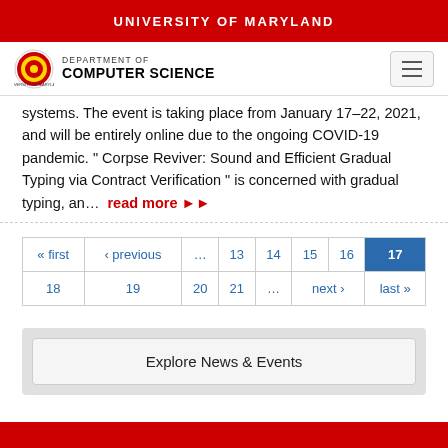UNIVERSITY OF MARYLAND
[Figure (logo): University of Maryland Department of Computer Science logo with circular seal and text]
systems. The event is taking place from January 17–22, 2021, and will be entirely online due to the ongoing COVID-19 pandemic. “ Corpse Reviver: Sound and Efficient Gradual Typing via Contract Verification ” is concerned with gradual typing, an… read more »»
| « first | ‹ previous | … | 13 | 14 | 15 | 16 | 17 |
| 18 | 19 | 20 | 21 | … | next › | last » |
Explore News & Events